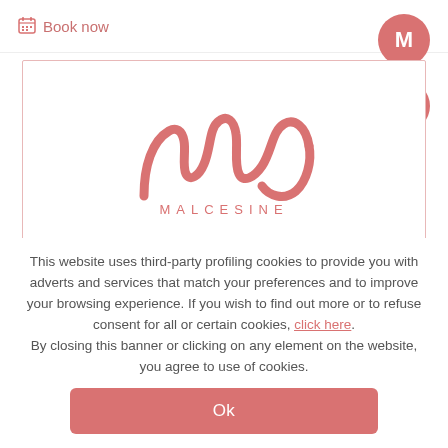Book now
[Figure (logo): Malcesine script logo with stylized M and text MALCESINE below]
This website uses third-party profiling cookies to provide you with adverts and services that match your preferences and to improve your browsing experience. If you wish to find out more or to refuse consent for all or certain cookies, click here. By closing this banner or clicking on any element on the website, you agree to use of cookies.
Ok